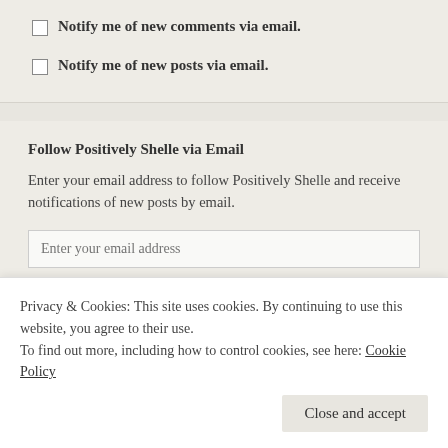Notify me of new comments via email.
Notify me of new posts via email.
Follow Positively Shelle via Email
Enter your email address to follow Positively Shelle and receive notifications of new posts by email.
Privacy & Cookies: This site uses cookies. By continuing to use this website, you agree to their use.
To find out more, including how to control cookies, see here: Cookie Policy
Close and accept